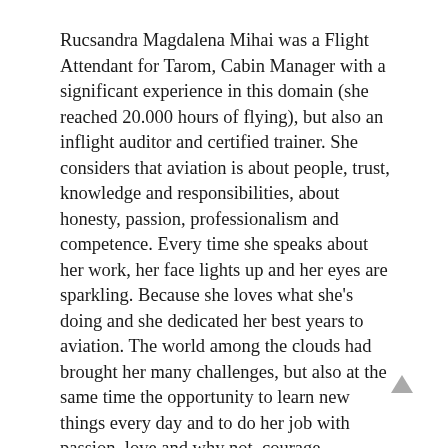Rucsandra Magdalena Mihai was a Flight Attendant for Tarom, Cabin Manager with a significant experience in this domain (she reached 20.000 hours of flying), but also an inflight auditor and certified trainer. She considers that aviation is about people, trust, knowledge and responsibilities, about honesty, passion, professionalism and competence. Every time she speaks about her work, her face lights up and her eyes are sparkling. Because she loves what she's doing and she dedicated her best years to aviation. The world among the clouds had brought her many challenges, but also at the same time the opportunity to learn new things every day and to do her job with passion, love and why not, courage.